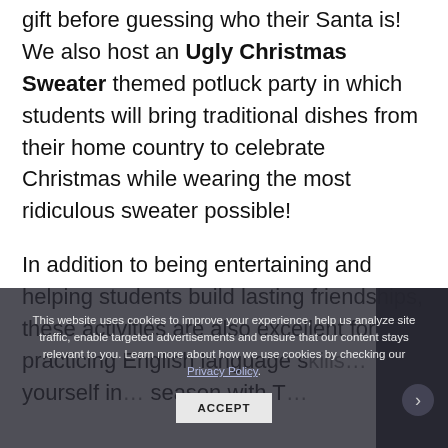gift before guessing who their Santa is! We also host an Ugly Christmas Sweater themed potluck party in which students will bring traditional dishes from their home country to celebrate Christmas while wearing the most ridiculous sweater possible!
In addition to being entertaining and helping students build lasting friendships, these activities are also excellent for practicing English language skills… yourself in… season with T…
This website uses cookies to improve your experience, help us analyze site traffic, enable targeted advertisements and ensure that our content stays relevant to you. Learn more about how we use cookies by checking our Privacy Policy. ACCEPT